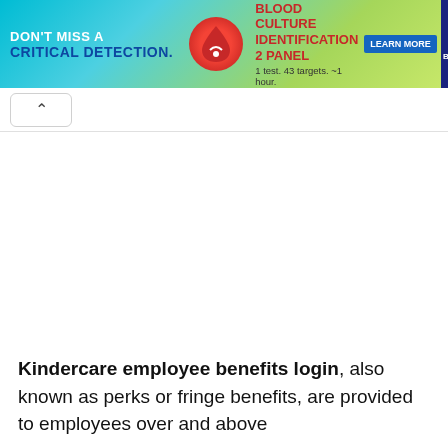[Figure (infographic): Advertisement banner for bioMérieux Blood Culture Identification 2 Panel. Teal and green gradient background with red blood drop icon. Text: 'DON'T MISS A CRITICAL DETECTION. BLOOD CULTURE IDENTIFICATION 2 PANEL. 1 test. 43 targets. ~1 hour.' with LEARN MORE button and bioMérieux logo.]
[Figure (screenshot): Web browser navigation bar showing an up-arrow (caret) button on white background with gray border.]
Kindercare employee benefits login, also known as perks or fringe benefits, are provided to employees over and above